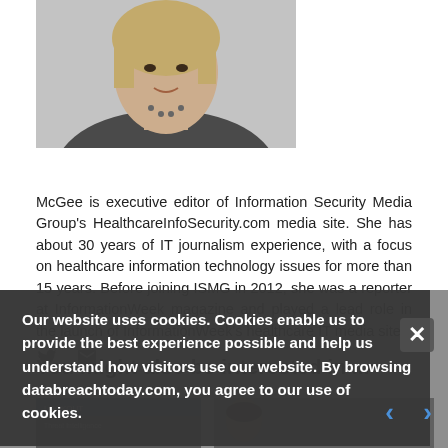[Figure (photo): Headshot of a woman with blonde hair wearing a black top and necklace, against a neutral background]
McGee is executive editor of Information Security Media Group's HealthcareInfoSecurity.com media site. She has about 30 years of IT journalism experience, with a focus on healthcare information technology issues for more than 15 years. Before joining ISMG in 2012, she was a reporter at InformationWeek magazine and played a lead role in the launch of InformationWeek's healthcare IT media site.
[Figure (screenshot): Cookie consent popup overlay with text: Our website uses cookies. Cookies enable us to provide the best experience possible and help us understand how visitors use our website. By browsing databreachtoday.com, you agree to our use of cookies. Close (X) button. Navigation arrows left and right.]
You might also be interested in ...
[Figure (photo): Thumbnail image on the left, partially visible]
[Figure (photo): Thumbnail image on the right showing a man's face]